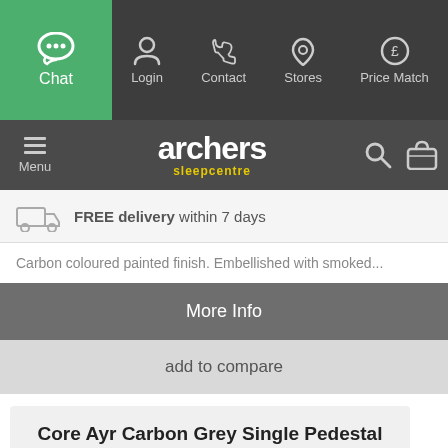Chat | Login | Contact | Stores | Price Match
archers sleepcentre — Menu, Search, Basket
FREE delivery within 7 days
Carbon coloured painted finish. Embellished with smoked...
More Info
add to compare
Core Ayr Carbon Grey Single Pedestal Mirrored 3 Drawer Dressing Table (Flat Packed)
£276.43  £349.99